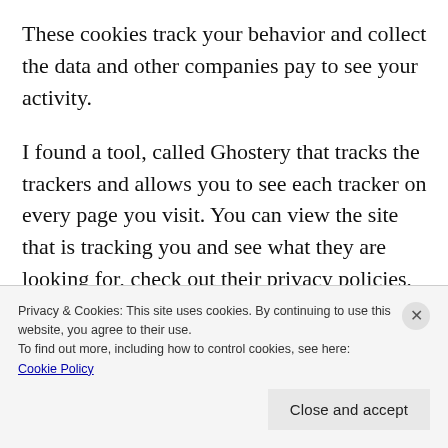These cookies track your behavior and collect the data and other companies pay to see your activity.
I found a tool, called Ghostery that tracks the trackers and allows you to see each tracker on every page you visit. You can view the site that is tracking you and see what they are looking for, check out their privacy policies, opt off
Privacy & Cookies: This site uses cookies. By continuing to use this website, you agree to their use.
To find out more, including how to control cookies, see here:
Cookie Policy
Close and accept